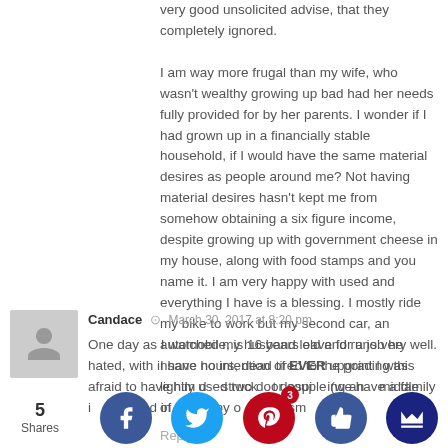very good unsolicited advise, that they completely ignored.

I am way more frugal than my wife, who wasn't wealthy growing up bad had her needs fully provided for by her parents. I wonder if I had grown up in a financially stable household, if I would have the same material desires as people around me? Not having material desires hasn't kept me from somehow obtaining a six figure income, despite growing up with government cheese in my house, along with food stamps and you name it. I am very happy with used and everything I have is a blessing. I mostly ride my bike to work but my second car, an automobile, is 16 years old and runs very well. I have no intention of EVER upgrading this lightly used two door couple (we have a family of 4).
Reply
Candace · March 30, 2017 at 8:20 pm
One day as I watched my husband leave for a job he hated, with insane hours, dead tired to the point I was afraid to have him d... struck... t despi...ing an... middle i... we... d in b...es by o...terialism